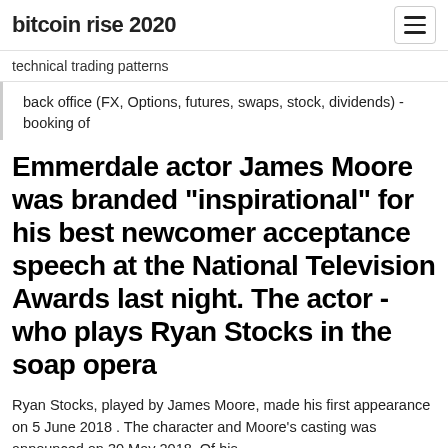bitcoin rise 2020
technical trading patterns
back office (FX, Options, futures, swaps, stock, dividends) - booking of
Emmerdale actor James Moore was branded "inspirational" for his best newcomer acceptance speech at the National Television Awards last night. The actor - who plays Ryan Stocks in the soap opera
Ryan Stocks, played by James Moore, made his first appearance on 5 June 2018 . The character and Moore's casting was announced on 30 May 2018. Of his
F...ing British